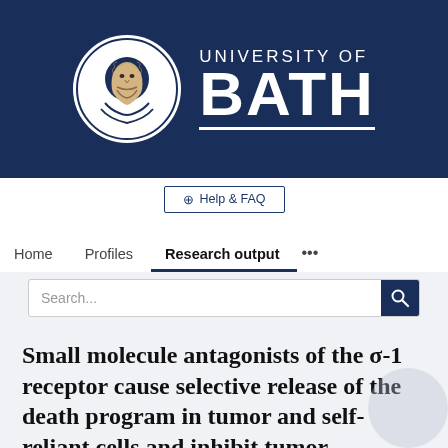[Figure (logo): University of Bath logo: circular emblem with a face illustration on the left, and 'UNIVERSITY OF BATH' text in white on dark navy background on the right]
Help & FAQ
Home   Profiles   Research output   ...
Search...
Small molecule antagonists of the σ-1 receptor cause selective release of the death program in tumor and self-reliant cells and inhibit tumor